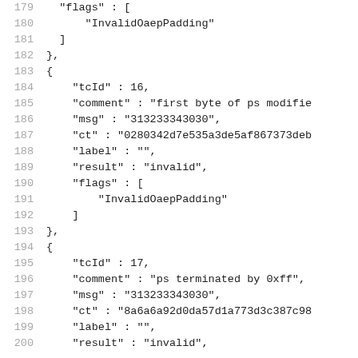179    "flags" : [
180        "InvalidOaepPadding"
181    ]
182  },
183  {
184    "tcId" : 16,
185    "comment" : "first byte of ps modifie
186    "msg" : "313233343030",
187    "ct" : "0280342d7e535a3de5af867373deb
188    "label" : "",
189    "result" : "invalid",
190    "flags" : [
191        "InvalidOaepPadding"
192    ]
193  },
194  {
195    "tcId" : 17,
196    "comment" : "ps terminated by 0xff",
197    "msg" : "313233343030",
198    "ct" : "8a6a6a92d0da57d1a773d3c387c98
199    "label" : "",
200    "result" : "invalid",